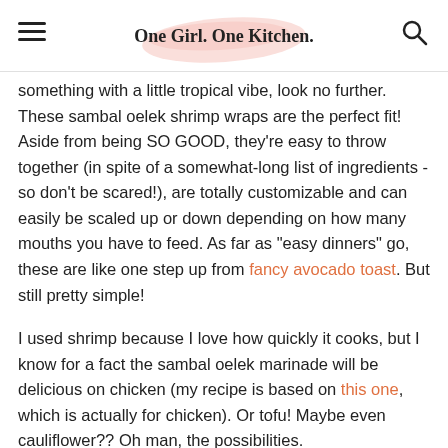One Girl. One Kitchen.
something with a little tropical vibe, look no further. These sambal oelek shrimp wraps are the perfect fit! Aside from being SO GOOD, they're easy to throw together (in spite of a somewhat-long list of ingredients - so don't be scared!), are totally customizable and can easily be scaled up or down depending on how many mouths you have to feed. As far as "easy dinners" go, these are like one step up from fancy avocado toast. But still pretty simple!
I used shrimp because I love how quickly it cooks, but I know for a fact the sambal oelek marinade will be delicious on chicken (my recipe is based on this one, which is actually for chicken). Or tofu! Maybe even cauliflower?? Oh man, the possibilities.